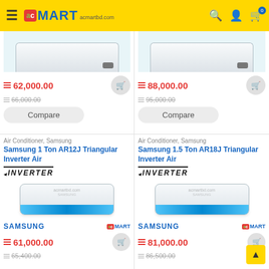acMart acmartbd.com
62,000.00
66,000.00
Compare
88,000.00
95,000.00
Compare
Air Conditioner, Samsung
Samsung 1 Ton AR12J Triangular Inverter Air
Air Conditioner, Samsung
Samsung 1.5 Ton AR18J Triangular Inverter Air
INVERTER
61,000.00
65,400.00
SAMSUNG
INVERTER
81,000.00
86,500.00
SAMSUNG